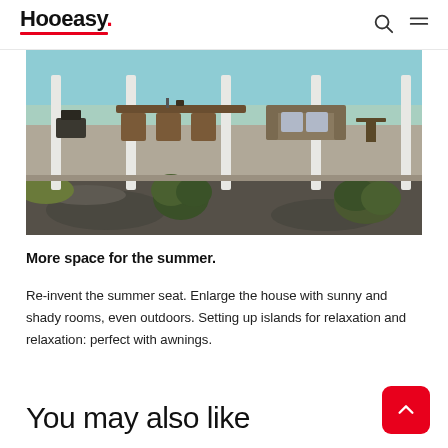Hooeasy
[Figure (photo): Outdoor patio scene with furniture, white columns, and garden landscaping with bushes and gravel]
More space for the summer.
Re-invent the summer seat. Enlarge the house with sunny and shady rooms, even outdoors. Setting up islands for relaxation and relaxation: perfect with awnings.
You may also like